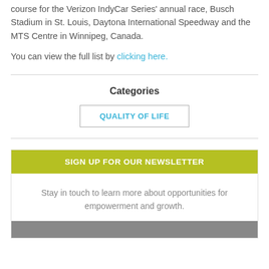course for the Verizon IndyCar Series' annual race, Busch Stadium in St. Louis, Daytona International Speedway and the MTS Centre in Winnipeg, Canada.
You can view the full list by clicking here.
Categories
QUALITY OF LIFE
SIGN UP FOR OUR NEWSLETTER
Stay in touch to learn more about opportunities for empowerment and growth.